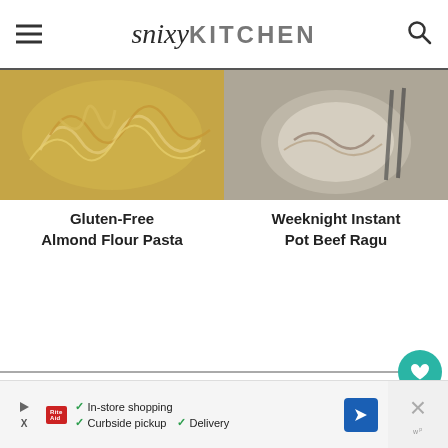snixyKITCHEN
[Figure (photo): Two food photos side by side: left shows golden gluten-free almond flour pasta noodles, right shows a bowl of weeknight instant pot beef ragu with noodles and chopsticks.]
Gluten-Free Almond Flour Pasta
Weeknight Instant Pot Beef Ragu
374
19 COMMENTS